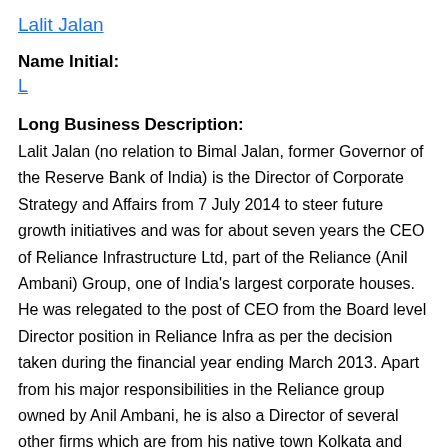Lalit Jalan
Name Initial:
L
Long Business Description:
Lalit Jalan (no relation to Bimal Jalan, former Governor of the Reserve Bank of India) is the Director of Corporate Strategy and Affairs from 7 July 2014 to steer future growth initiatives and was for about seven years the CEO of Reliance Infrastructure Ltd, part of the Reliance (Anil Ambani) Group, one of India's largest corporate houses. He was relegated to the post of CEO from the Board level Director position in Reliance Infra as per the decision taken during the financial year ending March 2013. Apart from his major responsibilities in the Reliance group owned by Anil Ambani, he is also a Director of several other firms which are from his native town Kolkata and some bear his family name "Jalan" (for example Jalan Brothers Private Limited (CIN